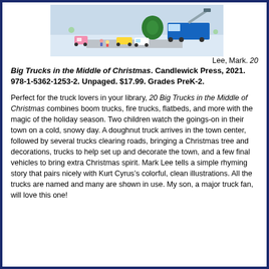[Figure (illustration): Top-down aerial view illustration of a snowy town scene with trucks, a Christmas tree, and holiday decorations]
Lee, Mark. 20
Big Trucks in the Middle of Christmas. Candlewick Press, 2021. 978-1-5362-1253-2. Unpaged. $17.99. Grades PreK-2.
Perfect for the truck lovers in your library, 20 Big Trucks in the Middle of Christmas combines boom trucks, fire trucks, flatbeds, and more with the magic of the holiday season. Two children watch the goings-on in their town on a cold, snowy day. A doughnut truck arrives in the town center, followed by several trucks clearing roads, bringing a Christmas tree and decorations, trucks to help set up and decorate the town, and a few final vehicles to bring extra Christmas spirit. Mark Lee tells a simple rhyming story that pairs nicely with Kurt Cyrus’s colorful, clean illustrations. All the trucks are named and many are shown in use. My son, a major truck fan, will love this one!